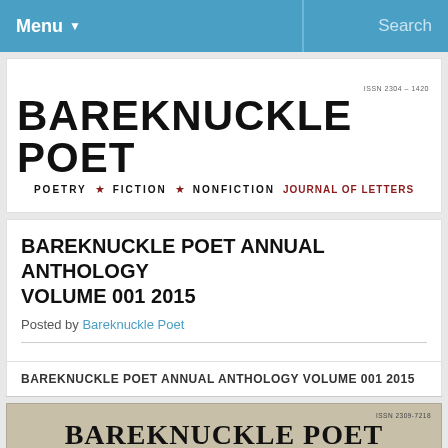Menu ▼   Search
[Figure (logo): Bareknuckle Poet logo with tagline: POETRY ★ FICTION ★ NONFICTION JOURNAL OF LETTERS]
BAREKNUCKLE POET ANNUAL ANTHOLOGY VOLUME 001 2015
Posted by Bareknuckle Poet
BAREKNUCKLE POET ANNUAL ANTHOLOGY VOLUME 001 2015
[Figure (photo): Book cover of Bareknuckle Poet Annual Anthology on tan/beige background with ISSN 2309-7218 and title BAREKNUCKLE POET in large serif type]